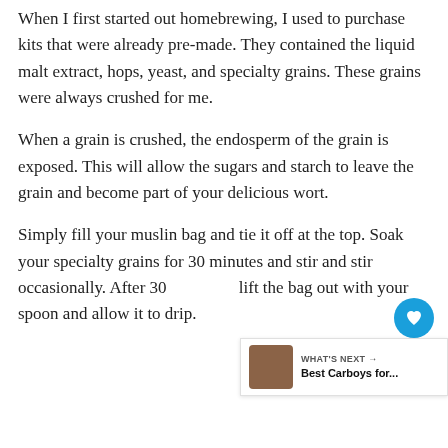When I first started out homebrewing, I used to purchase kits that were already pre-made. They contained the liquid malt extract, hops, yeast, and specialty grains. These grains were always crushed for me.
When a grain is crushed, the endosperm of the grain is exposed. This will allow the sugars and starch to leave the grain and become part of your delicious wort.
Simply fill your muslin bag and tie it off at the top. Soak your specialty grains for 30 minutes and stir and stir occasionally. After 30 lift the bag out with your spoon and allow it to drip.